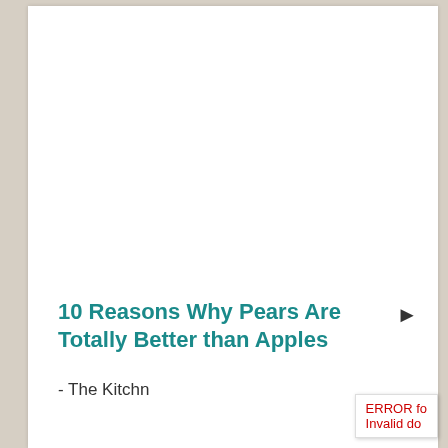10 Reasons Why Pears Are Totally Better than Apples
- The Kitchn
ERROR fo Invalid do